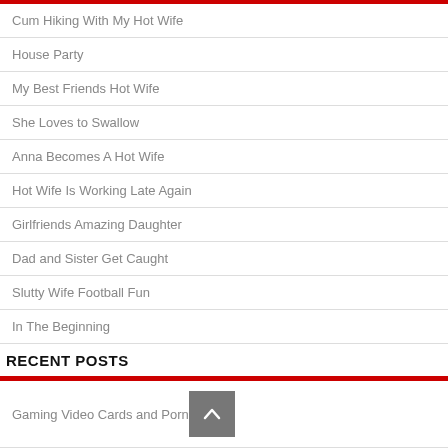FREE EROTIC STORIES
Cum Hiking With My Hot Wife
House Party
My Best Friends Hot Wife
She Loves to Swallow
Anna Becomes A Hot Wife
Hot Wife Is Working Late Again
Girlfriends Amazing Daughter
Dad and Sister Get Caught
Slutty Wife Football Fun
In The Beginning
RECENT POSTS
Gaming Video Cards and Porn